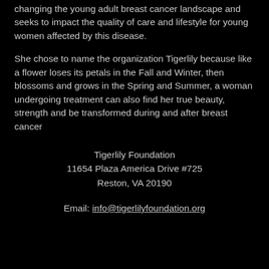changing the young adult breast cancer landscape and seeks to impact the quality of care and lifestyle for young women affected by this disease.
She chose to name the organization Tigerlily because like a flower loses its petals in the Fall and Winter, then blossoms and grows in the Spring and Summer, a woman undergoing treatment can also find her true beauty, strength and be transformed during and after breast cancer
Tigerlily Foundation
11654 Plaza America Drive #725
Reston, VA 20190
Email: info@tigerlilyfoundation.org